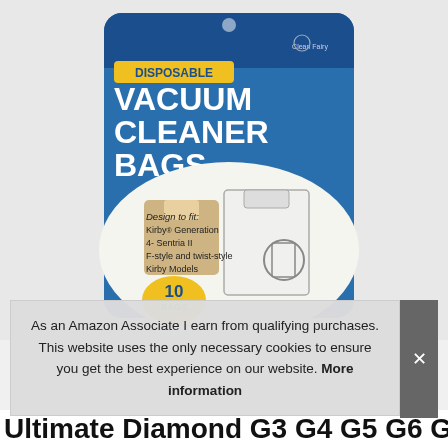[Figure (photo): Product photo of 'Clean Fairy Disposable Vacuum Cleaner Bags' package. Blue packaging with yellow 'DISPOSABLE' banner, white bold text reading 'VACUUM CLEANER BAGS', showing vacuum bag images and text 'Design to fit: Kirby Generation 4- Sentria II F-style and twist-style Kirby Models', '10 BAGS' in yellow circle, registered trademark note at bottom.]
As an Amazon Associate I earn from qualifying purchases. This website uses the only necessary cookies to ensure you get the best experience on our website. More information
Ultimate Diamond G3 G4 G5 G6 Gsix